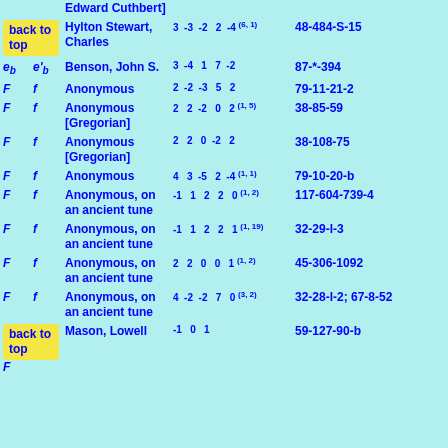Edward Cuthbert]
back to top | Hylton Stewart, Charles | 3 -3 -2 2 -4(6,1) | 48-484-S-15
eb e'b | Benson, John S. | 3 -4 1 7 -2 | 87-*-394
F f | Anonymous | 2 -2 -3 5 2 | 79-11-21-2
F f | Anonymous [Gregorian] | 2 2 -2 0 2(1,5) | 38-85-59
F f | Anonymous [Gregorian] | 2 2 0 -2 2 | 38-108-75
F f | Anonymous | 4 3 -5 2 -4(1,1) | 79-10-20-b
F f | Anonymous, on an ancient tune | -1 1 2 2 0(1,2) | 117-604-739-4
F f | Anonymous, on an ancient tune | -1 1 2 2 1(1,19) | 32-29-l-3
F f | Anonymous, on an ancient tune | 2 2 0 0 1(1,2) | 45-306-1092
F f | Anonymous, on an ancient tune | 4 -2 -2 7 0(3,2) | 32-28-l-2; 67-8-52
back to top
F f | Mason, Lowell | -1 0 1 | 59-127-90-b